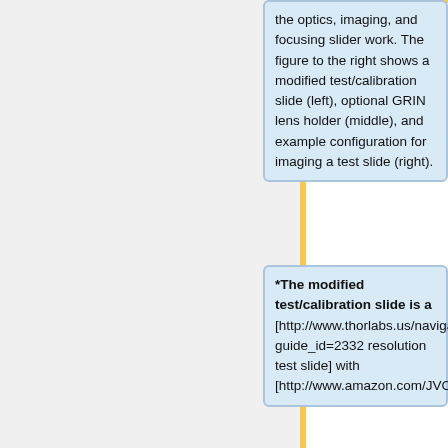[Figure (engineering-diagram): A vertical yellow line with a rectangular white box outline to its right. A minus sign is to the left of the line and a plus sign is to the right. This appears to be a schematic cross-section diagram of an optical or microscopy setup.]
the optics, imaging, and focusing slider work. The figure to the right shows a modified test/calibration slide (left), optional GRIN lens holder (middle), and example configuration for imaging a test slide (right).
*The modified test/calibration slide is a [http://www.thorlabs.us/navigation.cfm?guide_id=2332 resolution test slide] with [http://www.amazon.com/JVCC-